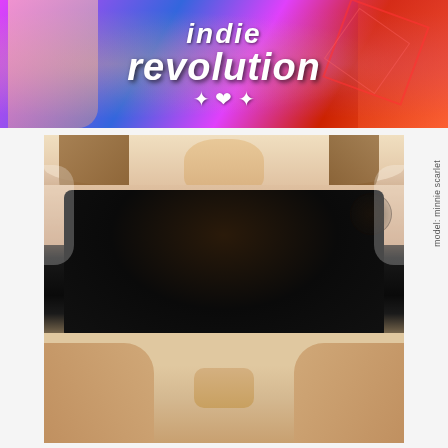[Figure (photo): Colorful banner image with stylized text reading 'indie revolution' with graphic design elements, two figures visible on sides]
[Figure (photo): Photo of model minnie scarlet lying on white bedding wearing black lace lingerie with tattoos visible]
model: minnie scarlet
stay inside and
buy some cool porn
at the troublefilms online store
troublefilms.com.com/shop
[Figure (photo): Partial image showing colorful blurred background with cursive text reading 'Virtual']